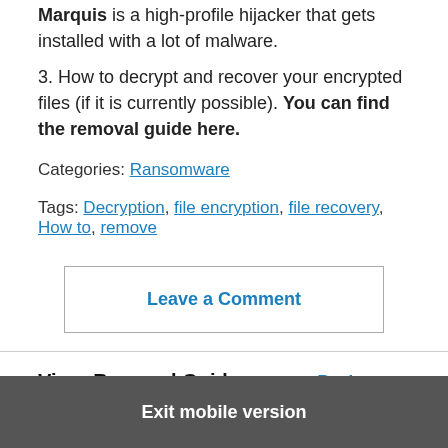Marquis is a high-profile hijacker that gets installed with a lot of malware.
3. How to decrypt and recover your encrypted files (if it is currently possible). You can find the removal guide here.
Categories: Ransomware
Tags: Decryption, file encryption, file recovery, How to, remove
Leave a Comment
Virus Removal Guides
Back to top
Exit mobile version